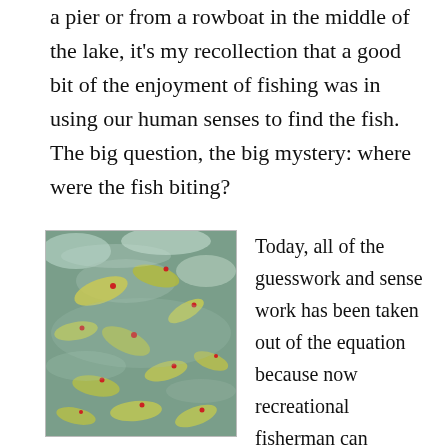a pier or from a rowboat in the middle of the lake, it's my recollection that a good bit of the enjoyment of fishing was in using our human senses to find the fish. The big question, the big mystery: where were the fish biting?
[Figure (photo): A close-up photograph of many fish in churning water, yellowish-green fish with red eyes visible among splashing waves.]
Today, all of the guesswork and sense work has been taken out of the equation because now recreational fisherman can purchase a fish finder akin to those used by the huge commercial operations. The device is worn on your wrist and